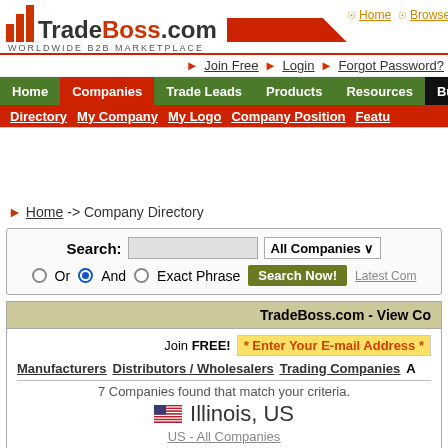[Figure (logo): TradeBoss.com logo with bar chart icon and tagline WORLDWIDE B2B MARKETPLACE]
Home   Browse by
Join Free  Login  Forgot Password?
Home  Companies  Trade Leads  Products  Resources  Buying
Directory  My Company  My Logo  Company Position  Featu
Home -> Company Directory
Search: [input] All Companies v  Or  And  Exact Phrase  Search Now!  Latest Com
TradeBoss.com - View Co
Join FREE!  * Enter Your E-mail Address *
Manufacturers  Distributors / Wholesalers  Trading Companies  A
7 Companies found that match your criteria.
Illinois, US
US - All Companies